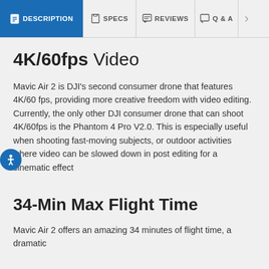DESCRIPTION | SPECS | REVIEWS | Q & A
4K/60fps Video
Mavic Air 2 is DJI's second consumer drone that features 4K/60 fps, providing more creative freedom with video editing. Currently, the only other DJI consumer drone that can shoot 4K/60fps is the Phantom 4 Pro V2.0. This is especially useful when shooting fast-moving subjects, or outdoor activities where video can be slowed down in post editing for a cinematic effect
34-Min Max Flight Time
Mavic Air 2 offers an amazing 34 minutes of flight time, a dramatic